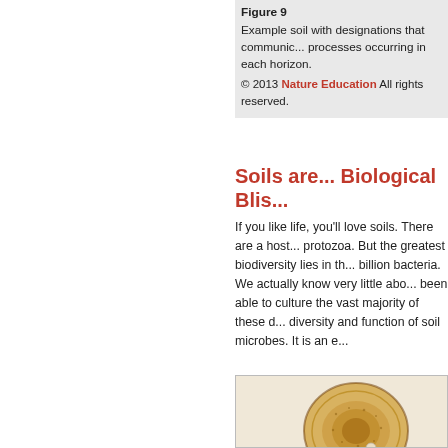Figure 9 Example soil with designations that communicate processes occurring in each horizon. © 2013 Nature Education All rights reserved.
Soils are... Biological Blis...
If you like life, you'll love soils. There are a host of protozoa. But the greatest biodiversity lies in th... billion bacteria. We actually know very little abo... been able to culture the vast majority of these o... diversity and function of soil microbes. It is an e...
[Figure (photo): Microscopy photograph of a soil microorganism (appears to be a diatom or protozoan), golden-yellow circular organism with intricate surface texture, viewed under microscope on a light background.]